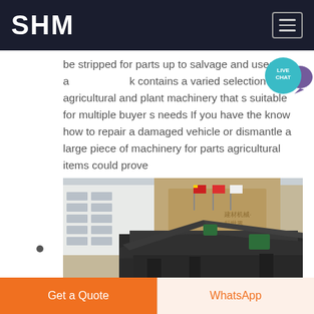SHM
be stripped for parts up to salvage and used a contains a varied selection of agricultural and plant machinery that s suitable for multiple buyer s needs If you have the know how to repair a damaged vehicle or dismantle a large piece of machinery for parts agricultural items could prove
Chat Online
[Figure (photo): Industrial machinery (crusher/screening equipment) parked in front of a large industrial building with flags visible in the background.]
Get a Quote | WhatsApp